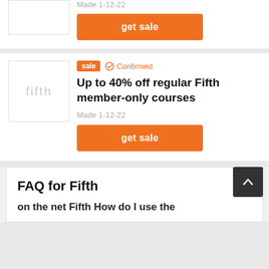Made 1-12-22
get sale
[Figure (logo): Fifth brand logo placeholder]
sale  ✓ Confirmed
Up to 40% off regular Fifth member-only courses
Made 1-12-22
get sale
FAQ for Fifth
on the net Fifth How do I use the